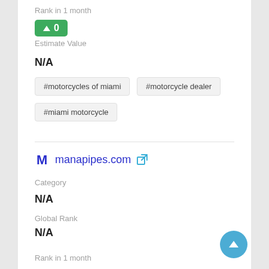Rank in 1 month
[Figure (infographic): Green badge with upward arrow and value 0]
Estimate Value
N/A
#motorcycles of miami
#motorcycle dealer
#miami motorcycle
manapipes.com
Category
N/A
Global Rank
N/A
Rank in 1 month